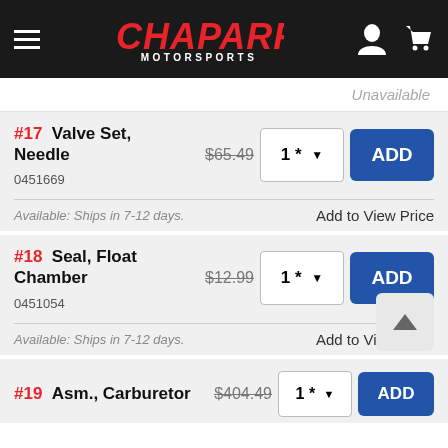Chaparral Motorsports
Unavailable
#17 Valve Set, Needle $65.49 0451669 Available: Ships in 7-12 days. Add to View Price
#18 Seal, Float Chamber $12.99 0451054 Available: Ships in 7-12 days. Add to View Price
#19 Asm., Carburetor $404.49 ADD